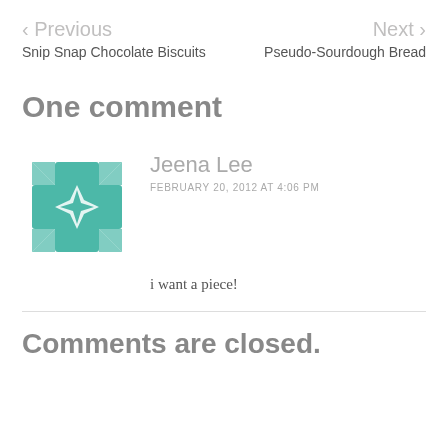< Previous   Next >
Snip Snap Chocolate Biscuits
Pseudo-Sourdough Bread
One comment
[Figure (logo): Teal geometric cross/flower avatar icon for user Jeena Lee]
Jeena Lee
FEBRUARY 20, 2012 AT 4:06 PM
i want a piece!
Comments are closed.